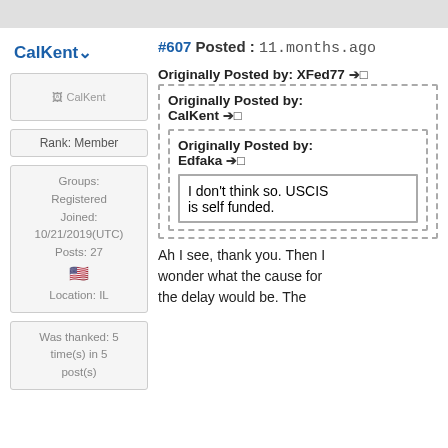CalKent
[Figure (illustration): CalKent avatar placeholder image]
Rank: Member
Groups: Registered
Joined: 10/21/2019(UTC)
Posts: 27
Location: IL
Was thanked: 5 time(s) in 5 post(s)
#607 Posted : 11 months ago
Originally Posted by: XFed77 →□
Originally Posted by: CalKent →□
Originally Posted by: Edfaka →□
I don't think so. USCIS is self funded.
Ah I see, thank you. Then I wonder what the cause for the delay would be. The